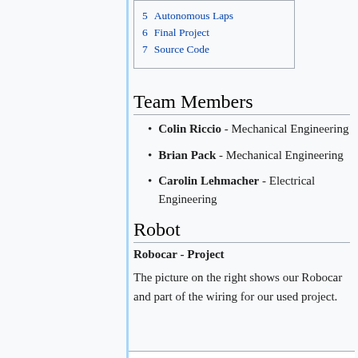5 Autonomous Laps
6 Final Project
7 Source Code
Team Members
Colin Riccio - Mechanical Engineering
Brian Pack - Mechanical Engineering
Carolin Lehmacher - Electrical Engineering
Robot
Robocar - Project
The picture on the right shows our Robocar and part of the wiring for our used project.